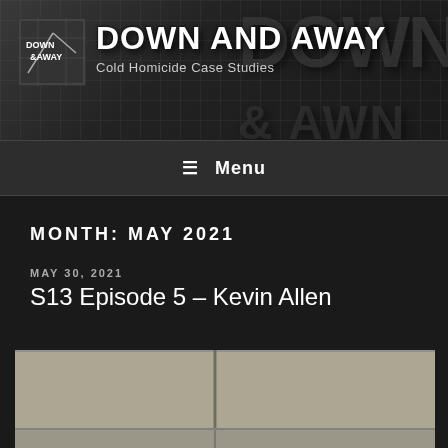DOWN AND AWAY — Cold Homicide Case Studies
MONTH: MAY 2021
MAY 30, 2021
S13 Episode 5 – Kevin Allen
[Figure (photo): Photograph showing beige/tan panels, likely a wall or surface with a vertical seam, partially visible, in greyscale-beige tones.]